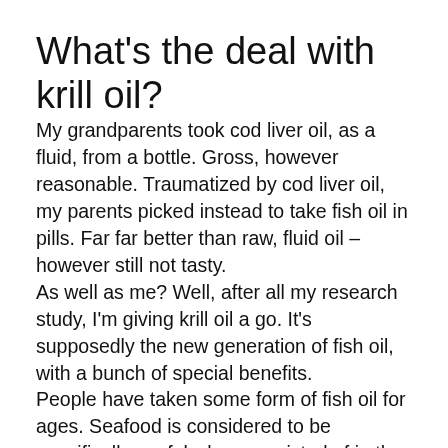What's the deal with krill oil?
My grandparents took cod liver oil, as a fluid, from a bottle. Gross, however reasonable. Traumatized by cod liver oil, my parents picked instead to take fish oil in pills. Far far better than raw, fluid oil – however still not tasty.
As well as me? Well, after all my research study, I'm giving krill oil a go. It's supposedly the new generation of fish oil, with a bunch of special benefits.
People have taken some form of fish oil for ages. Seafood is considered to be specifically useful when consisted of in the diet regimen, and also the reason for that is the visibility of